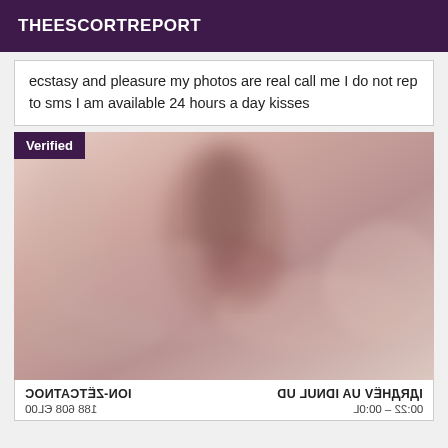THEESCORTREPORT
ecstasy and pleasure my photos are real call me I do not rep to sms I am available 24 hours a day kisses
[Figure (photo): A blurred/hazy intimate photo with a purple 'Verified' badge in the top-left corner]
CONTACTEZ-MOI   DU LUNDI AU VENDREDI
0613 806 881   10:00 - 22:00